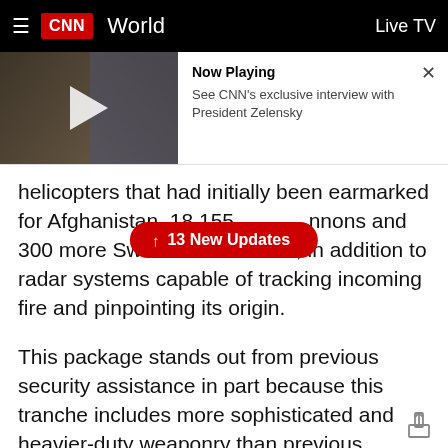CNN World | Live TV
[Figure (screenshot): CNN video player thumbnail showing two men — one appears to be President Zelensky on the left, the other a CNN anchor on the right. A white play button triangle is overlaid in the center.]
Now Playing
See CNN's exclusive interview with President Zelensky
helicopters that had initially been earmarked for Afghanistan, 18 155 [obscured by pill] nnons and 300 more Switchblade drones, in addition to radar systems capable of tracking incoming fire and pinpointing its origin.
This package stands out from previous security assistance in part because this tranche includes more sophisticated and heavier-duty weaponry than previous shipments.